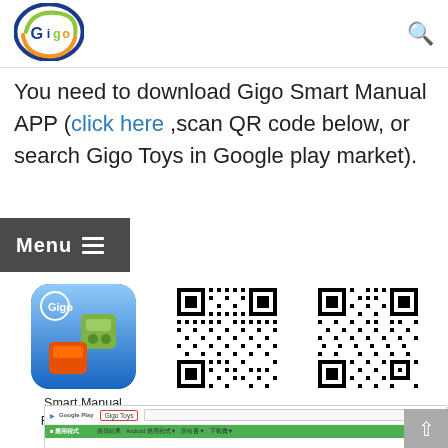[Figure (logo): Gigo Toys logo - colorful circular logo with blue, green, and orange elements]
You need to download Gigo Smart Manual APP (click here ,scan QR code below, or search Gigo Toys in Google play market).
Menu ≡
[Figure (illustration): Gigo Smart Manual app icon showing colorful building blocks]
Smart Manual FREE App下載
[Figure (other): iOS QR code for Gigo Smart Manual app]
iOS
[Figure (other): Android QR code for Gigo Smart Manual app]
Android
[Figure (screenshot): Google Play store screenshot showing search for Gigo Toys with app results]